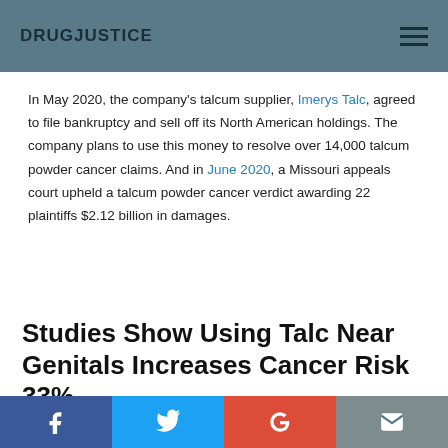DRUGJUSTICE
In May 2020, the company's talcum supplier, Imerys Talc, agreed to file bankruptcy and sell off its North American holdings. The company plans to use this money to resolve over 14,000 talcum powder cancer claims. And in June 2020, a Missouri appeals court upheld a talcum powder cancer verdict awarding 22 plaintiffs $2.12 billion in damages.
Studies Show Using Talc Near Genitals Increases Cancer Risk 33%